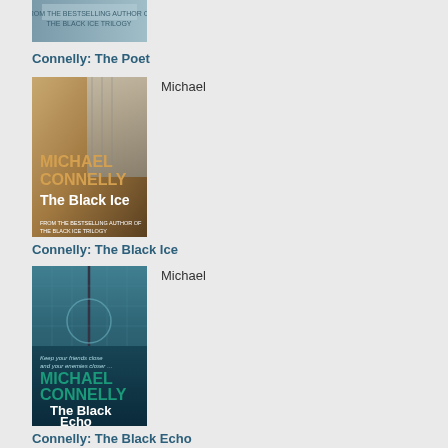[Figure (photo): Book cover of The Poet by Michael Connelly, partially cropped at top]
Connelly: The Poet
[Figure (photo): Book cover of The Black Ice by Michael Connelly]
Michael
Connelly: The Black Ice
[Figure (photo): Book cover of The Black Echo by Michael Connelly]
Michael
Connelly: The Black Echo